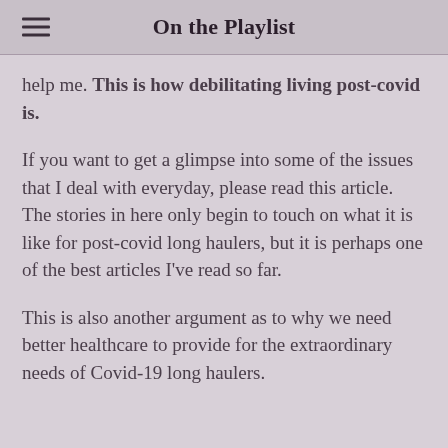On the Playlist
help me. This is how debilitating living post-covid is.
If you want to get a glimpse into some of the issues that I deal with everyday, please read this article. The stories in here only begin to touch on what it is like for post-covid long haulers, but it is perhaps one of the best articles I've read so far.
This is also another argument as to why we need better healthcare to provide for the extraordinary needs of Covid-19 long haulers.